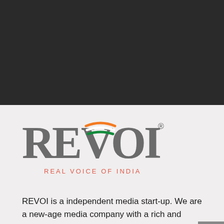[Figure (other): Dark background image/header area]
[Figure (logo): REVOI logo with Indian flag arc design over V, text reads REVOI REAL VOICE OF INDIA]
REVOI is a independent media start-up. We are a new-age media company with a rich and storied legacy. REVOI beli... "INFACT EVERY PERSON ON THIS EARTH IS ARGUABLY A